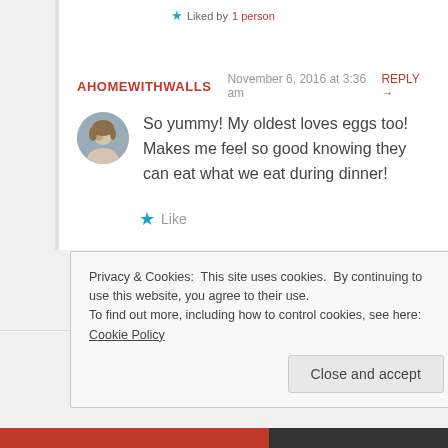Liked by 1 person
AHOMEWITHWALLS  November 6, 2016 at 3:36 am  REPLY →
So yummy! My oldest loves eggs too! Makes me feel so good knowing they can eat what we eat during dinner!
Like
Privacy & Cookies:  This site uses cookies.  By continuing to use this website, you agree to their use.
To find out more, including how to control cookies, see here: Cookie Policy
Close and accept